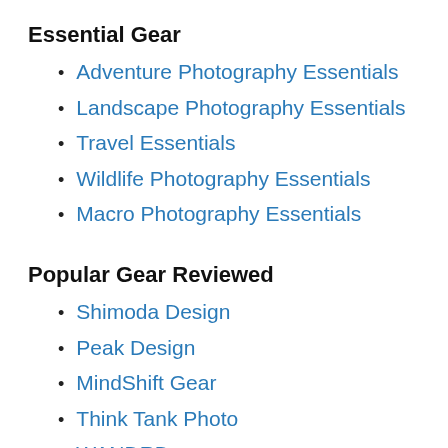Essential Gear
Adventure Photography Essentials
Landscape Photography Essentials
Travel Essentials
Wildlife Photography Essentials
Macro Photography Essentials
Popular Gear Reviewed
Shimoda Design
Peak Design
MindShift Gear
Think Tank Photo
WANDRD
Acratech